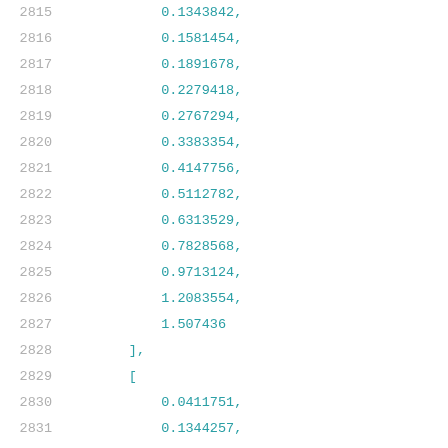2815    0.1343842,
2816    0.1581454,
2817    0.1891678,
2818    0.2279418,
2819    0.2767294,
2820    0.3383354,
2821    0.4147756,
2822    0.5112782,
2823    0.6313529,
2824    0.7828568,
2825    0.9713124,
2826    1.2083554,
2827    1.507436
2828    ],
2829    [
2830    0.0411751,
2831    0.1344257,
2832    0.1581446,
2833    0.1890413,
2834    0.2280321,
2835    0.2767877,
2836    0.338236,